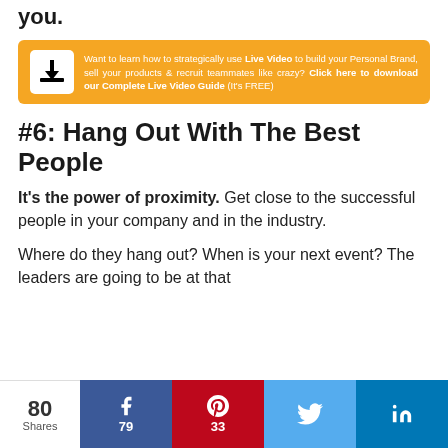other treatment), things will blow up for you.
[Figure (infographic): Orange banner with download icon and text: Want to learn how to strategically use Live Video to build your Personal Brand, sell your products & recruit teammates like crazy? Click here to download our Complete Live Video Guide (It's FREE)]
#6: Hang Out With The Best People
It's the power of proximity. Get close to the successful people in your company and in the industry.
Where do they hang out? When is your next event? The leaders are going to be at that
[Figure (infographic): Social sharing bar with 80 total shares: Facebook 79, Pinterest 33, Twitter, LinkedIn]